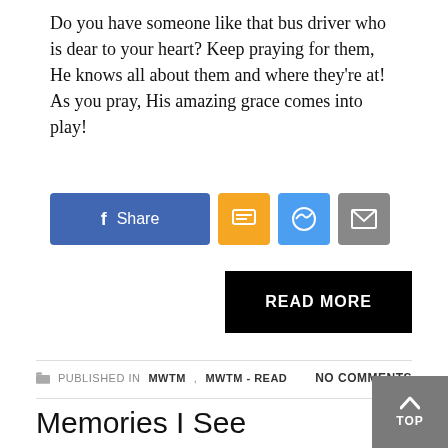Do you have someone like that bus driver who is dear to your heart? Keep praying for them, He knows all about them and where they're at! As you pray, His amazing grace comes into play!
[Figure (other): Social share buttons: Facebook Share (blue), SMS (orange), Messenger (blue), Email (gray)]
[Figure (other): READ MORE button (black)]
PUBLISHED IN MWTM, MWTM - READ    NO COMMENTS
Memories I See
FRIDAY, 10 SEPTEMBER 2021 BY CCNZWEBADMIN